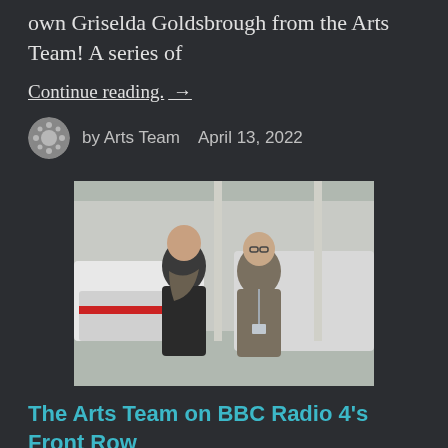own Griselda Goldsbrough from the Arts Team! A series of
Continue reading. →
by Arts Team   April 13, 2022
[Figure (photo): Two women standing outside in front of vehicles, smiling at the camera. One wears a dark top with a patterned scarf, the other wears a floral top with a lanyard.]
The Arts Team on BBC Radio 4's Front Row
The Arts Team or, ahem, 'Dream Team' featured in BBC Radio 4's Front Row programme on Wednesday!